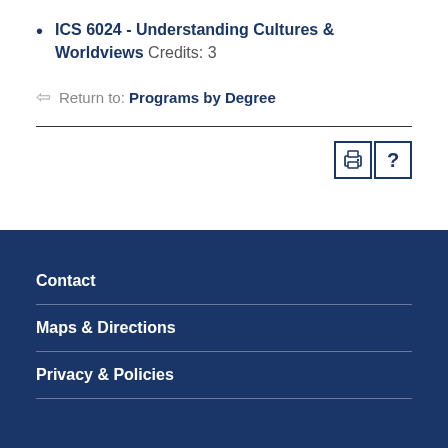ICS 6024 - Understanding Cultures & Worldviews Credits: 3
Return to: Programs by Degree
Contact | Maps & Directions | Privacy & Policies